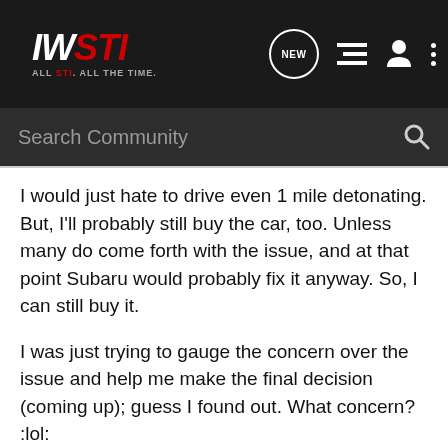IWSTI — ALL STI. ALL THE TIME. [NEW] [icons]
Search Community
I would just hate to drive even 1 mile detonating. But, I'll probably still buy the car, too. Unless many do come forth with the issue, and at that point Subaru would probably fix it anyway. So, I can still buy it.
I was just trying to gauge the concern over the issue and help me make the final decision (coming up); guess I found out. What concern? :lol:
Aside to all you w/ attitude: Man people get harsh here quick. What the he11 is wrong w/ you all?
I'm just trying to make sure myself and others don't get a car that is self-destructing. So, lighten the F**k up. I feel like everytime I post I end up defending my person, and no one